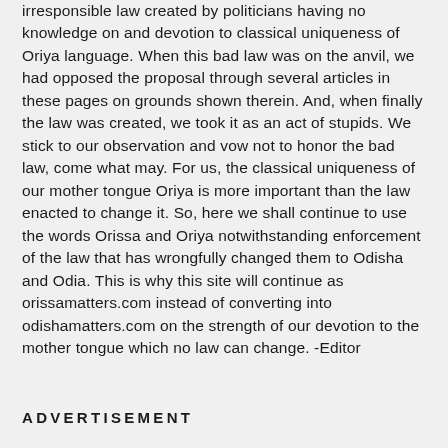irresponsible law created by politicians having no knowledge on and devotion to classical uniqueness of Oriya language. When this bad law was on the anvil, we had opposed the proposal through several articles in these pages on grounds shown therein. And, when finally the law was created, we took it as an act of stupids. We stick to our observation and vow not to honor the bad law, come what may. For us, the classical uniqueness of our mother tongue Oriya is more important than the law enacted to change it. So, here we shall continue to use the words Orissa and Oriya notwithstanding enforcement of the law that has wrongfully changed them to Odisha and Odia. This is why this site will continue as orissamatters.com instead of converting into odishamatters.com on the strength of our devotion to the mother tongue which no law can change. -Editor
ADVERTISEMENT